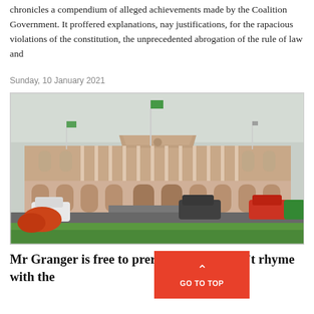chronicles a compendium of alleged achievements made by the Coalition Government. It proffered explanations, nay justifications, for the rapacious violations of the constitution, the unprecedented abrogation of the rule of law and
Sunday, 10 January 2021
[Figure (photo): Photograph of a colonial-era government building, two-story with arched arcades, white columns, and a triangular pediment above the entrance. Flags fly above the roofline. Cars are parked in front. Green lawn and flowering shrubs visible in the foreground.]
Mr Granger is free to pr…ersion but it doesn't rhyme with the…